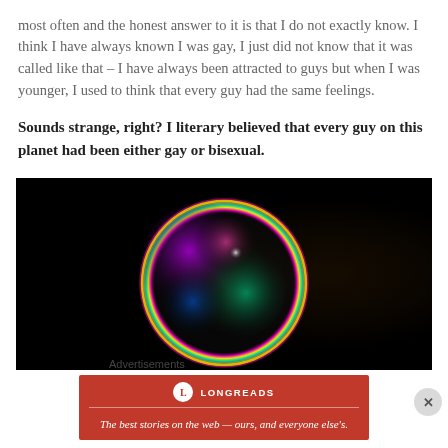most often and the honest answer to it is that I do not exactly know. I think I have always known I was gay, I just did not know that it was called like that – I have always been attracted to guys but when I was younger, I used to think that every guy had the same feelings.
Sounds strange, right? I literary believed that every guy on this planet had been either gay or bisexual.
[Figure (photo): A colorful soap bubble glowing with iridescent colors (purple, pink, green, blue, yellow) against a dark black background.]
Advertisements
[Figure (logo): Longreads advertisement banner: red background with circular logo and text 'The best stories on the web — ours, and everyone else's.']